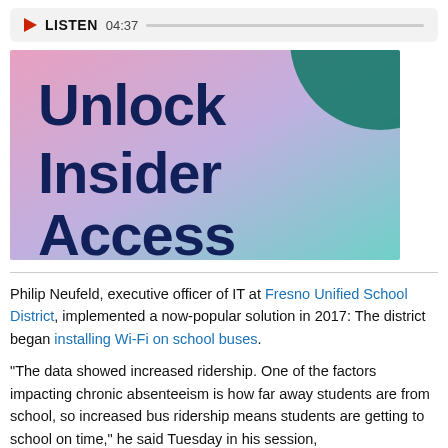LISTEN  04:37
[Figure (illustration): Promotional banner image with pink-to-teal gradient background and dark teal circular shape in upper right corner. Large bold dark navy text reads 'Unlock Insider Access'.]
Philip Neufeld, executive officer of IT at Fresno Unified School District, implemented a now-popular solution in 2017: The district began installing Wi-Fi on school buses.
"The data showed increased ridership. One of the factors impacting chronic absenteeism is how far away students are from school, so increased bus ridership means students are getting to school on time," he said Tuesday in his session,